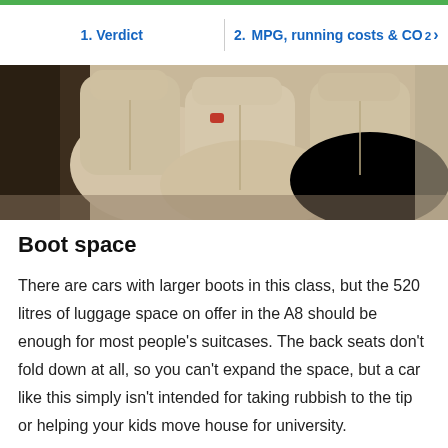1. Verdict | 2. MPG, running costs & CO2
[Figure (photo): Interior photo showing cream/beige leather rear seats of a luxury car (Audi A8), with a centre armrest visible on the left.]
Boot space
There are cars with larger boots in this class, but the 520 litres of luggage space on offer in the A8 should be enough for most people's suitcases. The back seats don't fold down at all, so you can't expand the space, but a car like this simply isn't intended for taking rubbish to the tip or helping your kids move house for university.